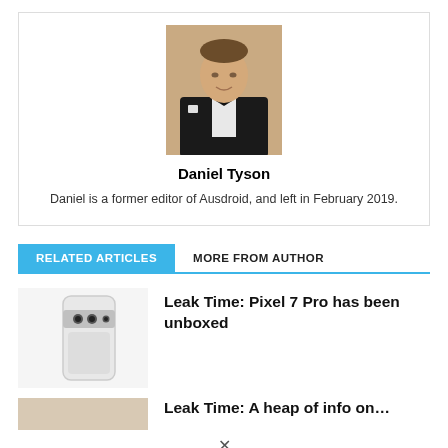[Figure (photo): Author photo of Daniel Tyson, a man in a black tuxedo with a white pocket square, standing against a light beige background.]
Daniel Tyson
Daniel is a former editor of Ausdroid, and left in February 2019.
RELATED ARTICLES   MORE FROM AUTHOR
[Figure (photo): Photo of a white Google Pixel 7 Pro smartphone showing its rear camera module.]
Leak Time: Pixel 7 Pro has been unboxed
[Figure (photo): Partially visible thumbnail image for second article.]
Leak Time: A heap of info on the Pixel